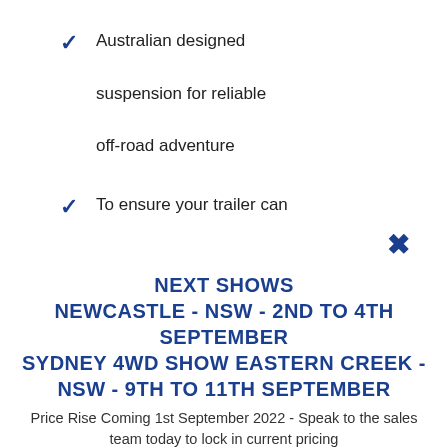Australian designed suspension for reliable off-road adventure
To ensure your trailer can
NEXT SHOWS
NEWCASTLE - NSW - 2ND TO 4TH SEPTEMBER
SYDNEY 4WD SHOW EASTERN CREEK - NSW - 9TH TO 11TH SEPTEMBER
Price Rise Coming 1st September 2022 - Speak to the sales team today to lock in current pricing